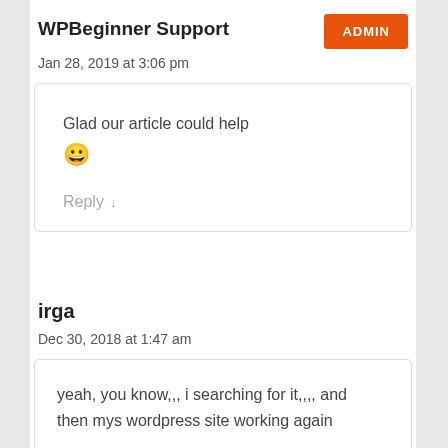WPBeginner Support
ADMIN
Jan 28, 2019 at 3:06 pm
Glad our article could help 😀
Reply ↓
irga
Dec 30, 2018 at 1:47 am
yeah, you know,,, i searching for it,,,, and then mys wordpress site working again